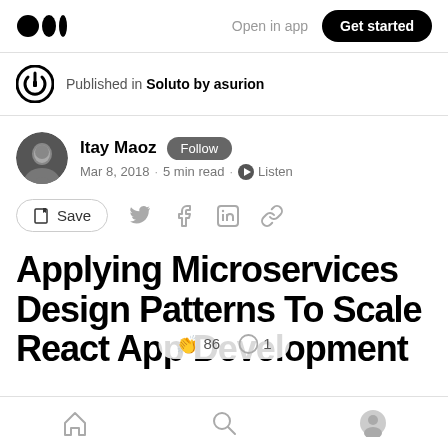Open in app | Get started
Published in Soluto by asurion
Itay Maoz · Follow
Mar 8, 2018 · 5 min read · Listen
Save (share icons)
Applying Microservices Design Patterns To Scale React App Development
Home | Search | Profile · 86 claps · 1 comment